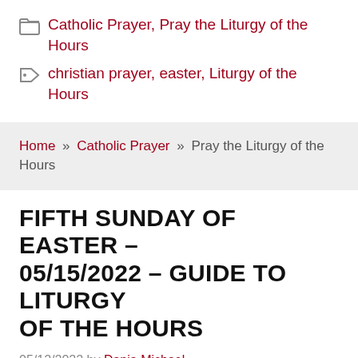Catholic Prayer, Pray the Liturgy of the Hours
christian prayer, easter, Liturgy of the Hours
Home » Catholic Prayer » Pray the Liturgy of the Hours
FIFTH SUNDAY OF EASTER – 05/15/2022 – GUIDE TO LITURGY OF THE HOURS
05/12/2022 by Dania Michael